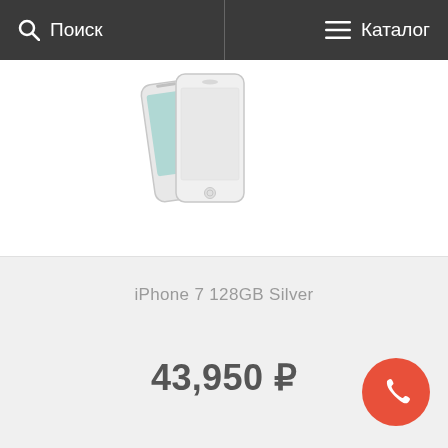Поиск   Каталог
[Figure (photo): iPhone 7 128GB Silver product photo showing the front and back of the phone]
iPhone 7 128GB Silver
43,950 ₽